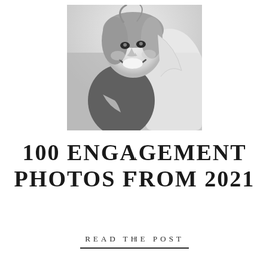[Figure (photo): Black and white engagement photo of a smiling young woman being hugged from behind by a man, outdoor setting]
100 ENGAGEMENT PHOTOS FROM 2021
READ THE POST